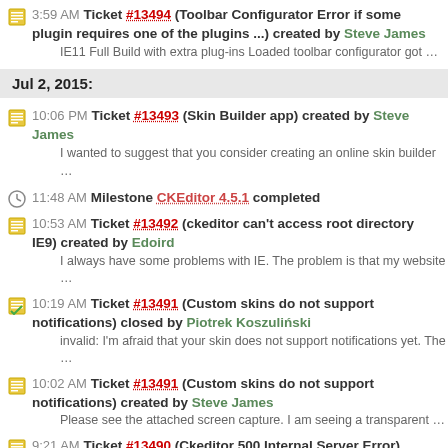3:59 AM Ticket #13494 (Toolbar Configurator Error if some plugin requires one of the plugins ...) created by Steve James
IE11 Full Build with extra plug-ins Loaded toolbar configurator got …
Jul 2, 2015:
10:06 PM Ticket #13493 (Skin Builder app) created by Steve James
I wanted to suggest that you consider creating an online skin builder …
11:48 AM Milestone CKEditor 4.5.1 completed
10:53 AM Ticket #13492 (ckeditor can't access root directory IE9) created by Edoird
I always have some problems with IE. The problem is that my website …
10:19 AM Ticket #13491 (Custom skins do not support notifications) closed by Piotrek Koszuliński
invalid: I'm afraid that your skin does not support notifications yet. The …
10:02 AM Ticket #13491 (Custom skins do not support notifications) created by Steve James
Please see the attached screen capture. I am seeing a transparent …
9:21 AM Ticket #13490 (Ckeditor 500 Internal Server Error) created by Hima
Hello, I am using ckeditor.when i am trying to add content from word …
8:33 AM Ticket #13486 (Upload image should log an error, not throw